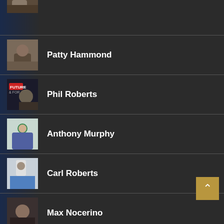[Figure (photo): Partial profile photo at top of page, cropped]
Patty Hammond
Phil Roberts
Anthony Murphy
Carl Roberts
Max Nocerino
[Figure (photo): Partial profile photo at bottom of page, cropped]